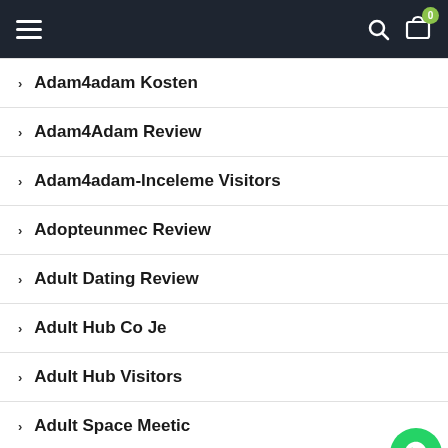Navigation bar with hamburger menu, search icon, and cart with badge 0
> Adam4adam Kosten
> Adam4Adam Review
> Adam4adam-Inceleme Visitors
> Adopteunmec Review
> Adult Dating Review
> Adult Hub Co Je
> Adult Hub Visitors
> Adult Space Meetic